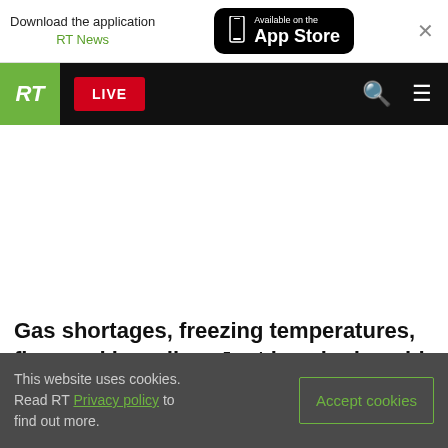Download the application RT News — Available on the App Store
RT LIVE — navigation bar with search and menu icons
Gas shortages, freezing temperatures, firewood hoarding: Just how bad could things get this wi…
This website uses cookies. Read RT Privacy policy to find out more. Accept cookies